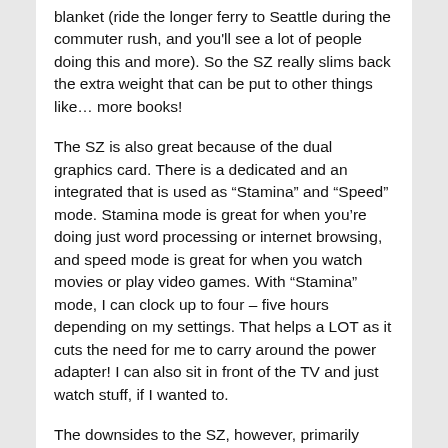blanket (ride the longer ferry to Seattle during the commuter rush, and you'll see a lot of people doing this and more). So the SZ really slims back the extra weight that can be put to other things like… more books!
The SZ is also great because of the dual graphics card. There is a dedicated and an integrated that is used as “Stamina” and “Speed” mode. Stamina mode is great for when you’re doing just word processing or internet browsing, and speed mode is great for when you watch movies or play video games. With “Stamina” mode, I can clock up to four – five hours depending on my settings. That helps a LOT as it cuts the need for me to carry around the power adapter! I can also sit in front of the TV and just watch stuff, if I wanted to.
The downsides to the SZ, however, primarily come with the keyboard, the OS, and the dedicated graphics card. How?
The Keyboard: